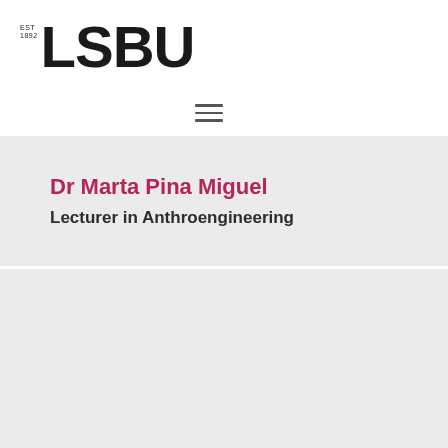[Figure (logo): LSBU logo with EST 1892 text and bold LSBU wordmark]
[Figure (other): Hamburger menu icon with three horizontal lines]
Dr Marta Pina Miguel
Lecturer in Anthroengineering